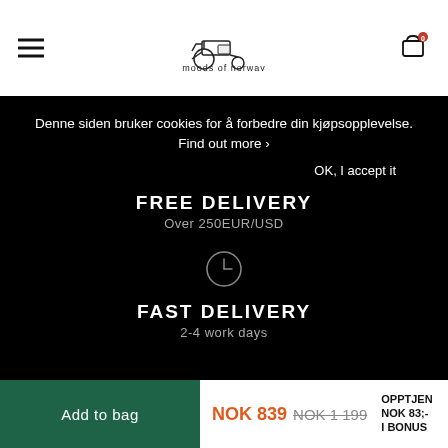[Figure (logo): Moods of Norway brand logo with tractor icon and text 'moods of norway']
Denne siden bruker cookies for å forbedre din kjøpsopplevelse. Find out more ›
OK, I accept it
FREE DELIVERY
Over 250EUR/USD
[Figure (illustration): Clock icon (circle with clock hands)]
FAST DELIVERY
2-4 work days
Add to bag
NOK 839  NOK 1 199  OPPTJEN NOK 83;- I BONUS